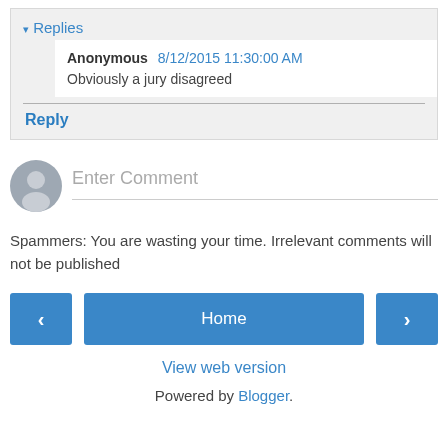▾ Replies
Anonymous 8/12/2015 11:30:00 AM
Obviously a jury disagreed
Reply
[Figure (illustration): User avatar placeholder icon — grey circle with silhouette]
Enter Comment
Spammers: You are wasting your time. Irrelevant comments will not be published
< Home >
View web version
Powered by Blogger.